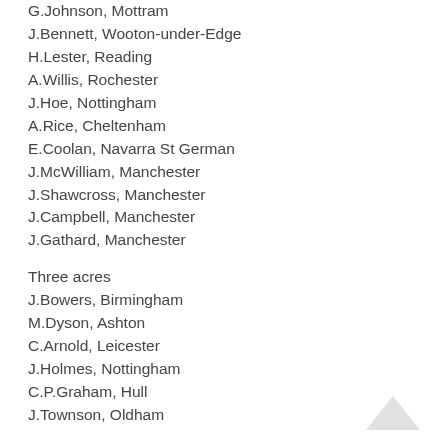G.Johnson, Mottram
J.Bennett, Wooton-under-Edge
H.Lester, Reading
A.Willis, Rochester
J.Hoe, Nottingham
A.Rice, Cheltenham
E.Coolan, Navarra St German
J.McWilliam, Manchester
J.Shawcross, Manchester
J.Campbell, Manchester
J.Gathard, Manchester
Three acres
J.Bowers, Birmingham
M.Dyson, Ashton
C.Arnold, Leicester
J.Holmes, Nottingham
C.P.Graham, Hull
J.Townson, Oldham